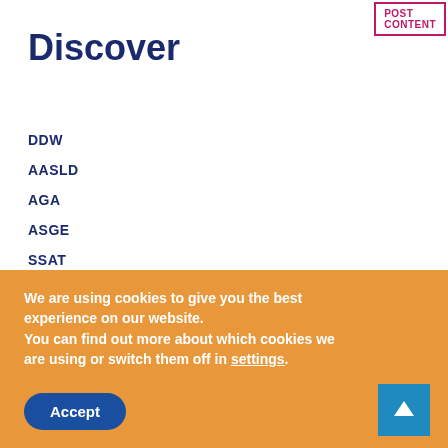POST CONTENT
Discover
DDW
AASLD
AGA
ASGE
SSAT
Recent News
We are using cookies to give you the best experience on our website.
You can find out more about which cookies we are using or switch them off in settings.
Accept